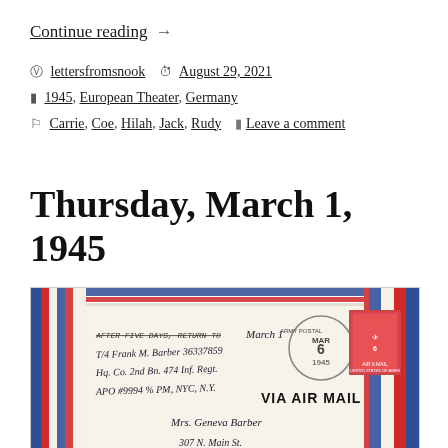Continue reading  →
lettersfromsnook  August 29, 2021
1945, European Theater, Germany
Carrie, Coe, Hilah, Jack, Rudy  Leave a comment
Thursday, March 1, 1945
[Figure (photo): Photograph of a WWII-era air mail envelope addressed from T/4 Frank M. Barber 36337859, Hq. Co. 2nd Bn. 474 Inf. Regt., APO #9994 % PM, NYC, NY, to Mrs. Geneva Barber. Postmarked Army Postal Service MAR 6 1945, with a 6 cent Air Mail stamp. VIA AIR MAIL text visible.]